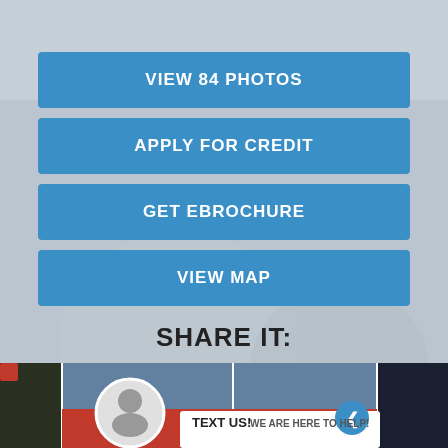[Figure (screenshot): Car dealership interior background image with white car wheel visible]
VIEW 84 PHOTOS
APPLY FOR CREDIT
GET EBROCHURE
VIEW MAP
SHARE IT:
[Figure (infographic): Social media sharing icons: Facebook, Twitter, Google+, LinkedIn, Pinterest, Email]
[Figure (photo): Bottom strip showing vehicle photos with TEXT US! chat widget and avatar circle]
TEXT US! WE ARE HERE TO HELP!